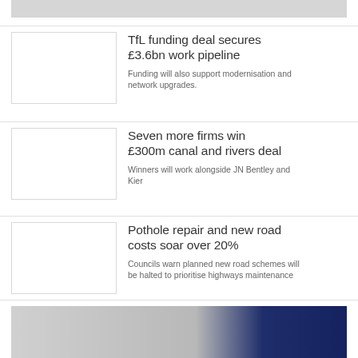[Figure (photo): Top partial image strip (cropped photo)]
TfL funding deal secures £3.6bn work pipeline
Funding will also support modernisation and network upgrades.
Seven more firms win £300m canal and rivers deal
Winners will work alongside JN Bentley and Kier
Pothole repair and new road costs soar over 20%
Councils warn planned new road schemes will be halted to prioritise highways maintenance
[Figure (photo): Bottom partial image showing construction workers and dark background]